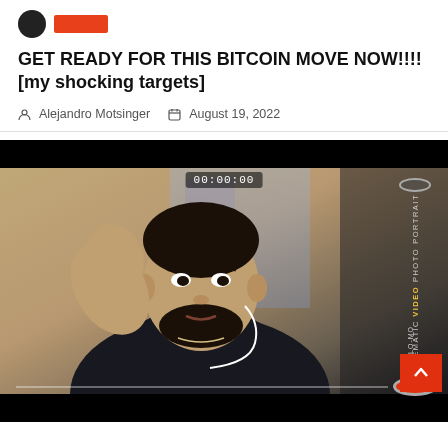[Figure (logo): Black circle logo and orange rectangle banner]
GET READY FOR THIS BITCOIN MOVE NOW!!!! [my shocking targets]
Alejandro Motsinger   August 19, 2022
[Figure (screenshot): Video thumbnail showing a man with beard wearing dark shirt and earphones, raising hand, with iPhone camera UI overlay showing timestamp 00:00:00, modes PORTRAIT, PHOTO, VIDEO (active/highlighted), CINEMATIC, SLO-MO, and red record button]